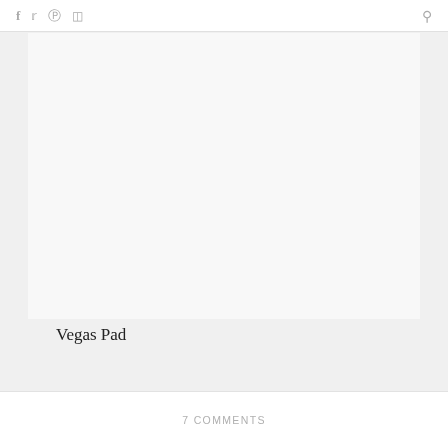f  twitter  pinterest  instagram  search
[Figure (photo): Large blank/white image area representing a photo placeholder for Vegas Pad article]
Vegas Pad
7 COMMENTS